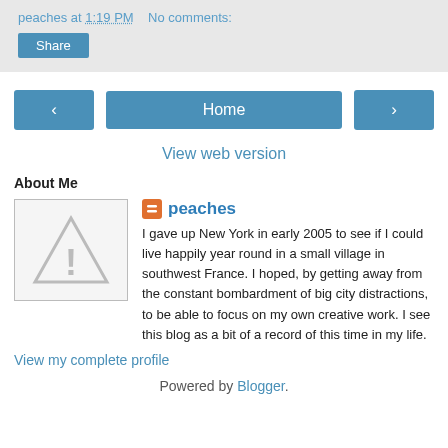peaches at 1:19 PM   No comments:
Share
‹   Home   ›
View web version
About Me
[Figure (illustration): Default avatar placeholder image with a warning triangle and exclamation mark icon]
peaches
I gave up New York in early 2005 to see if I could live happily year round in a small village in southwest France. I hoped, by getting away from the constant bombardment of big city distractions, to be able to focus on my own creative work. I see this blog as a bit of a record of this time in my life.
View my complete profile
Powered by Blogger.